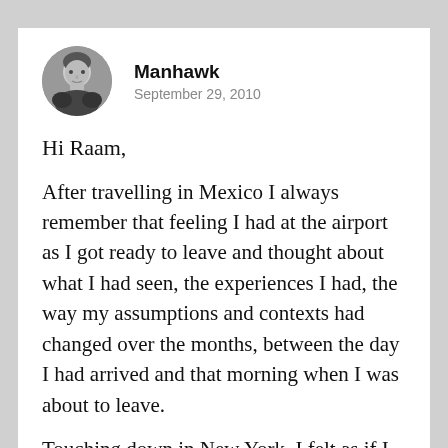[Figure (photo): Circular avatar photo of a man, grayscale, used as a profile picture for the commenter Manhawk]
Manhawk
September 29, 2010
Hi Raam,
After travelling in Mexico I always remember that feeling I had at the airport as I got ready to leave and thought about what I had seen, the experiences I had, the way my assumptions and contexts had changed over the months, between the day I had arrived and that morning when I was about to leave.
Touching down in New York, I felt as if I knew something people didn't know – and people couldn't tell, people didn't seem interested to know – they were